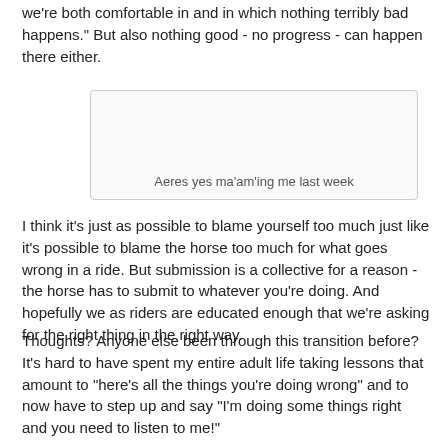we're both comfortable in and in which nothing terribly bad happens." But also nothing good - no progress - can happen there either.
[Figure (photo): Image placeholder box with caption: Aeres yes ma'am'ing me last week]
Aeres yes ma'am'ing me last week
I think it's just as possible to blame yourself too much just like it's possible to blame the horse too much for what goes wrong in a ride. But submission is a collective for a reason - the horse has to submit to whatever you're doing. And hopefully we as riders are educated enough that we're asking for the right thing in the right way.
Thoughts? Anyone else been through this transition before? It's hard to have spent my entire adult life taking lessons that amount to "here's all the things you're doing wrong" and to now have to step up and say "I'm doing some things right and you need to listen to me!"